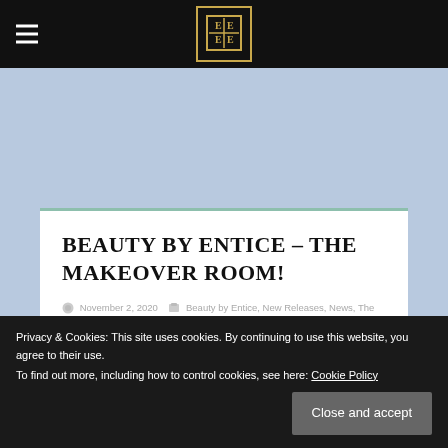Beauty by Entice – navigation header with hamburger menu and logo
BEAUTY BY ENTICE – THE MAKEOVER ROOM!
November 2, 2020  Beauty by Entice, New Releases, News, The Makeover Room  Belleza, Catwa, cosmetics, eyeshadow, free, Freya, gift, Group Gift, Hourglass, Isis, Lara, maitreya, makeup, Physique, Slink, TMR, Venus
Privacy & Cookies: This site uses cookies. By continuing to use this website, you agree to their use.
To find out more, including how to control cookies, see here: Cookie Policy